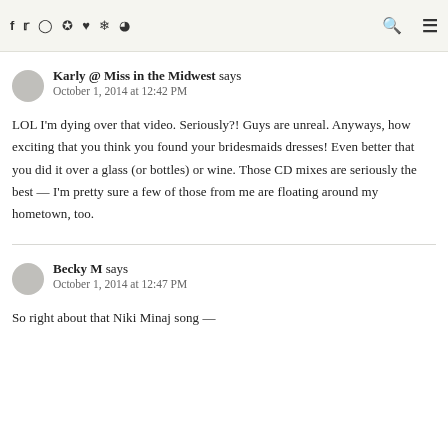f  tw  ig  pi  ♥  snap  ●  🔍  ☰
Karly @ Miss in the Midwest says
October 1, 2014 at 12:42 PM

LOL I'm dying over that video. Seriously?! Guys are unreal. Anyways, how exciting that you think you found your bridesmaids dresses! Even better that you did it over a glass (or bottles) or wine. Those CD mixes are seriously the best — I'm pretty sure a few of those from me are floating around my hometown, too.
Becky M says
October 1, 2014 at 12:47 PM

So right about that Niki Minaj song —